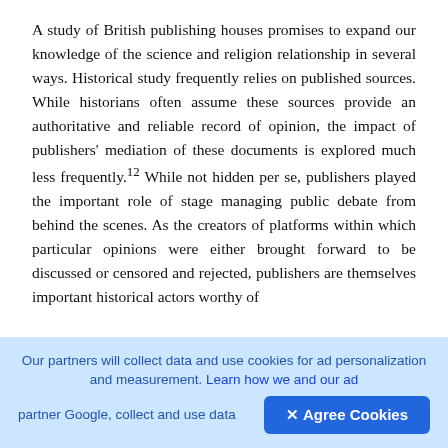A study of British publishing houses promises to expand our knowledge of the science and religion relationship in several ways. Historical study frequently relies on published sources. While historians often assume these sources provide an authoritative and reliable record of opinion, the impact of publishers' mediation of these documents is explored much less frequently.12 While not hidden per se, publishers played the important role of stage managing public debate from behind the scenes. As the creators of platforms within which particular opinions were either brought forward to be discussed or censored and rejected, publishers are themselves important historical actors worthy of
Our partners will collect data and use cookies for ad personalization and measurement. Learn how we and our ad partner Google, collect and use data